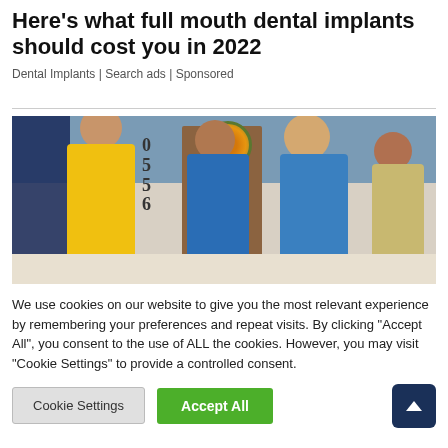Here's what full mouth dental implants should cost you in 2022
Dental Implants | Search ads | Sponsored
[Figure (photo): Four smiling dental office staff members standing in front of a house entrance with an autumn wreath on the door. One woman wears a yellow polo shirt, three others wear blue uniforms.]
We use cookies on our website to give you the most relevant experience by remembering your preferences and repeat visits. By clicking "Accept All", you consent to the use of ALL the cookies. However, you may visit "Cookie Settings" to provide a controlled consent.